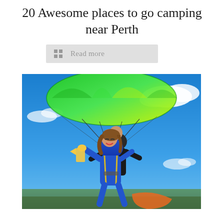20 Awesome places to go camping near Perth
Read more
[Figure (photo): Two people tandem skydiving or paragliding against a blue sky with white clouds. The person in front is a young woman in a blue suit with arms raised, laughing joyfully. Behind her is an instructor in dark clothing and sunglasses. Above them is a green and yellow parachute/paraglider canopy.]